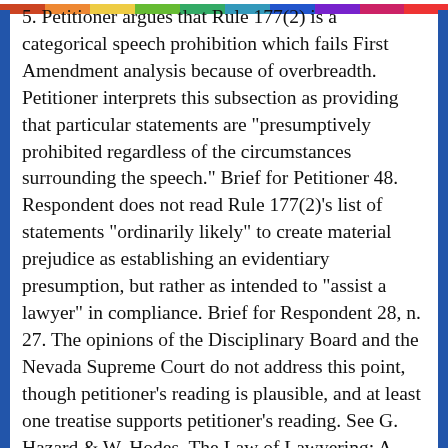5. Petitioner argues that Rule 177(2) is a categorical speech prohibition which fails First Amendment analysis because of overbreadth. Petitioner interprets this subsection as providing that particular statements are "presumptively prohibited regardless of the circumstances surrounding the speech." Brief for Petitioner 48. Respondent does not read Rule 177(2)'s list of statements "ordinarily likely" to create material prejudice as establishing an evidentiary presumption, but rather as intended to "assist a lawyer" in compliance. Brief for Respondent 28, n. 27. The opinions of the Disciplinary Board and the Nevada Supreme Court do not address this point, though petitioner's reading is plausible, and at least one treatise supports petitioner's reading. See G. Hazard & W. Hodes, The Law of Lawyering: A Handbook on the Model Rules of Professional Conduct 398-399 (1985) (analogous subsection (b) of ABA Model Rule 3.6 creates a presumption of prejudice). Given the lack of any